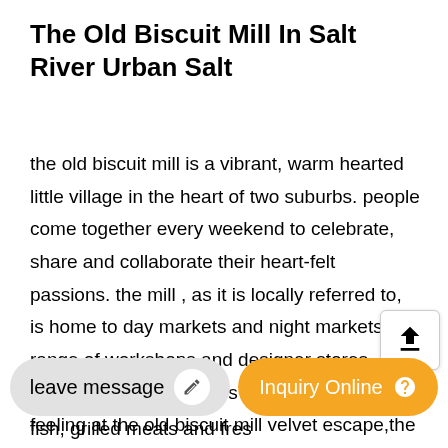The Old Biscuit Mill In Salt River Urban Salt
the old biscuit mill is a vibrant, warm hearted little village in the heart of two suburbs. people come together every weekend to celebrate, share and collaborate their heart-felt passions. the mill , as it is locally referred to, is home to day markets and night markets, a range of workshops and designer stores, office spaces, farm stalls and cafes..that feeling at the old biscuit mill velvet escape,the old biscuit mill in cape town. that feeling when you step into a place and your senses are simply overwhelmed. then you get accustomed to the cacophony of people and the
leave message
Inquiry Online
fish, grilled meats and fres...